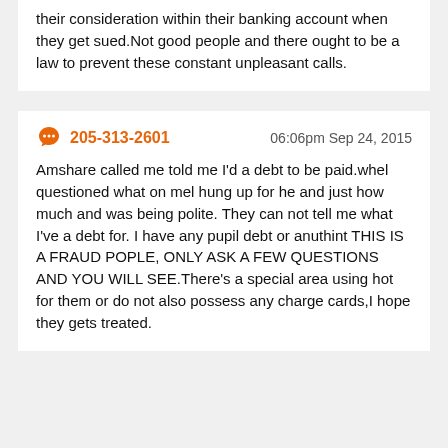their consideration within their banking account when they get sued.Not good people and there ought to be a law to prevent these constant unpleasant calls.
205-313-2601  06:06pm Sep 24, 2015
Amshare called me told me I'd a debt to be paid.whel questioned what on mel hung up for he and just how much and was being polite. They can not tell me what I've a debt for. I have any pupil debt or anuthint THIS IS A FRAUD POPLE, ONLY ASK A FEW QUESTIONS AND YOU WILL SEE.There's a special area using hot for them or do not also possess any charge cards,I hope they gets treated.